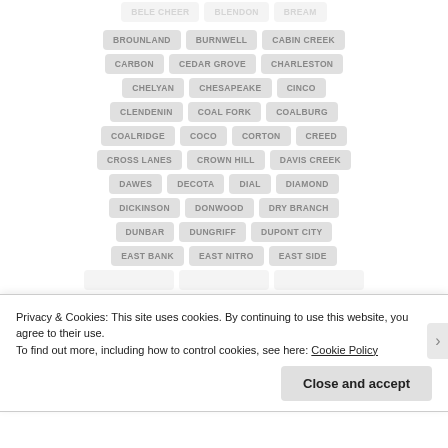BELE CHEER, BLENDON, BREAM
BROUNLAND, BURNWELL, CABIN CREEK
CARBON, CEDAR GROVE, CHARLESTON
CHELYAN, CHESAPEAKE, CINCO
CLENDENIN, COAL FORK, COALBURG
COALRIDGE, COCO, CORTON, CREED
CROSS LANES, CROWN HILL, DAVIS CREEK
DAWES, DECOTA, DIAL, DIAMOND
DICKINSON, DONWOOD, DRY BRANCH
DUNBAR, DUNGRIFF, DUPONT CITY
EAST BANK, EAST NITRO, EAST SIDE
Privacy & Cookies: This site uses cookies. By continuing to use this website, you agree to their use.
To find out more, including how to control cookies, see here: Cookie Policy
Close and accept